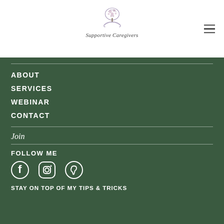[Figure (logo): Supportive Caregivers logo with tree and hands illustration]
ABOUT
SERVICES
WEBINAR
CONTACT
Join
FOLLOW ME
[Figure (illustration): Social media icons: Facebook, Instagram, Pinterest]
STAY ON TOP OF MY TIPS & TRICKS